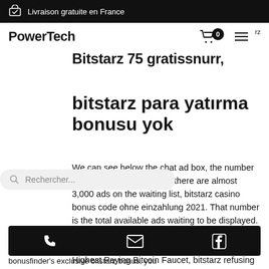Livraison gratuite en France
PowerTech
bitstarz 75 gratissnurr, bitstarz para yatirma bonusu yok
Rechercher...
We can see below the chat ad box, the number of ads in queue. Currently there are almost 3,000 ads on the waiting list, bitstarz casino bonus code ohne einzahlung 2021. That number is the total available ads waiting to be displayed. Created - age of the faucet in days, bitstarz casino bonus code ohne einzahlung 2021. Highest Paying Bitcoin Faucet, bitstarz refusing to pay.
bonusfinder's exclusive bitstarz bonus, you